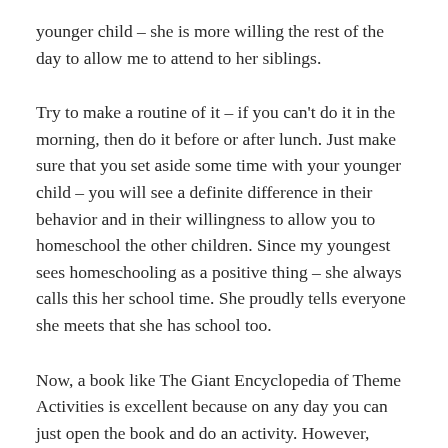younger child – she is more willing the rest of the day to allow me to attend to her siblings.
Try to make a routine of it – if you can't do it in the morning, then do it before or after lunch. Just make sure that you set aside some time with your younger child – you will see a definite difference in their behavior and in their willingness to allow you to homeschool the other children. Since my youngest sees homeschooling as a positive thing – she always calls this her school time. She proudly tells everyone she meets that she has school too.
Now, a book like The Giant Encyclopedia of Theme Activities is excellent because on any day you can just open the book and do an activity. However, sometimes